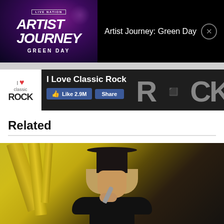[Figure (screenshot): Artist Journey: Green Day promotional banner with Live Nation logo on dark purple/blue background, showing text 'ARTIST JOURNEY GREEN DAY' in white bold letters]
Artist Journey: Green Day
[Figure (screenshot): I Love Classic Rock Facebook page banner with like button showing 2.9M likes and Share button, with 'I Love Classic Rock' logo on left and rock text overlay on right]
Related
[Figure (photo): Photo of a performer wearing a black wide-brim hat, holding a microphone, with yellow structural elements in background]